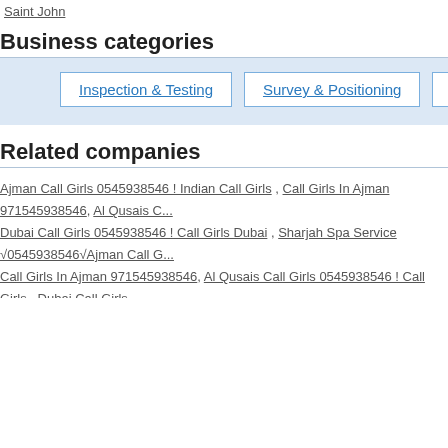Saint John
Business categories
Inspection & Testing
Survey & Positioning
Placement
Related companies
Ajman Call Girls 0545938546 ! Indian Call Girls , Call Girls In Ajman 971545938546, Al Qusais C... Dubai Call Girls 0545938546 ! Call Girls Dubai , Sharjah Spa Service √0545938546√Ajman Call G... Call Girls In Ajman 971545938546, Al Qusais Call Girls 0545938546 ! Call Girls , Dubai Call Girls... Sharjah Spa Service √0545938546√Ajman Call Girls 0545938546 ! Indian Call Girls , Call Girls In... Girls 0545938546 ! Call Girls , Dubai Call Girls 0545938546 ! Call Girls Dubai , Sharjah Spa Serv...